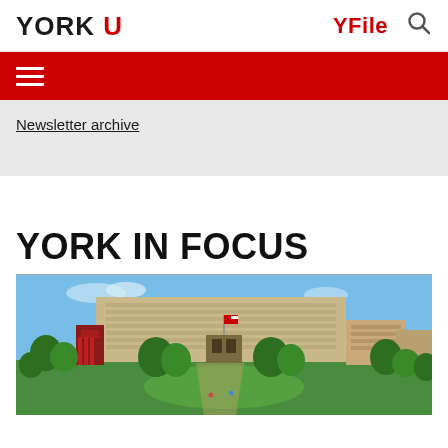YORK U | YFile
Newsletter archive
YORK IN FOCUS
[Figure (photo): Aerial view of York University campus showing main buildings, green lawns, trees, and surrounding urban area under a clear sky.]